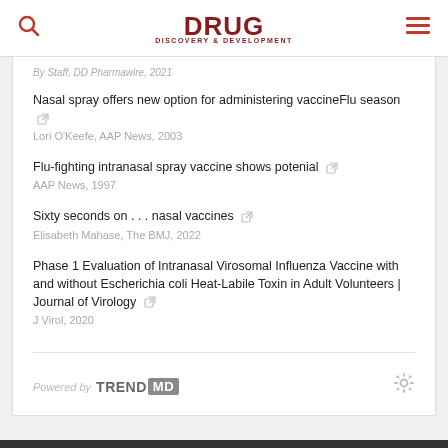DRUG DISCOVERY & DEVELOPMENT
By Staff, DD Pharmawire, 2021
Nasal spray offers new option for administering vaccineFlu season
Lori O'Keefe, AAP News, 2003
Flu-fighting intranasal spray vaccine shows potenial
AAP News, 1997
Sixty seconds on . . . nasal vaccines
Elisabeth Mahase, The BMJ, 2022
Phase 1 Evaluation of Intranasal Virosomal Influenza Vaccine with and without Escherichia coli Heat-Labile Toxin in Adult Volunteers | Journal of Virology
J Virol, 2020
Powered by TRENDMD